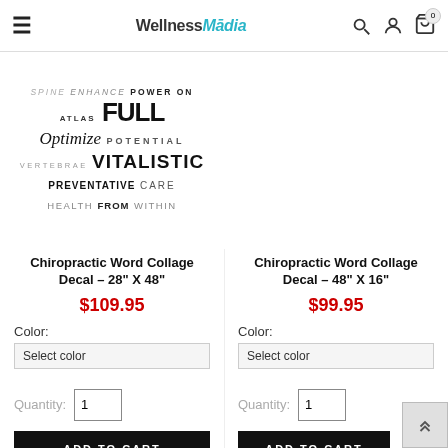Wellness Media — navigation header with search, account, and cart icons
[Figure (illustration): Chiropractic word collage decal image showing words: SPINE, enhance, POWER ON, ATLAS, FULL, Optimize, POTENTIAL, VERTEBRAE, VITALISTIC, PREVENTATIVE CARE, HEALTH FROM WITHIN]
Chiropractic Word Collage Decal – 28" X 48"
$109.95
Color: Select color
Quantity: 1
ADD TO CART
Chiropractic Word Collage Decal – 48" X 16"
$99.95
Color: Select color
Quantity: 1
ADD TO CART